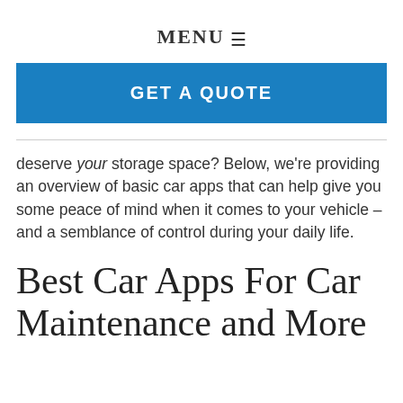MENU ≡
GET A QUOTE
deserve your storage space? Below, we're providing an overview of basic car apps that can help give you some peace of mind when it comes to your vehicle – and a semblance of control during your daily life.
Best Car Apps For Car Maintenance and More